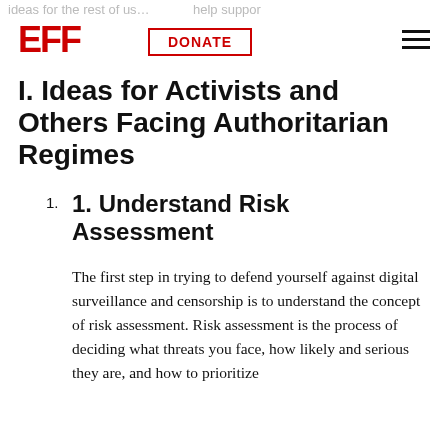EFF | DONATE
I. Ideas for Activists and Others Facing Authoritarian Regimes
1. Understand Risk Assessment
The first step in trying to defend yourself against digital surveillance and censorship is to understand the concept of risk assessment. Risk assessment is the process of deciding what threats you face, how likely and serious they are, and how to prioritize